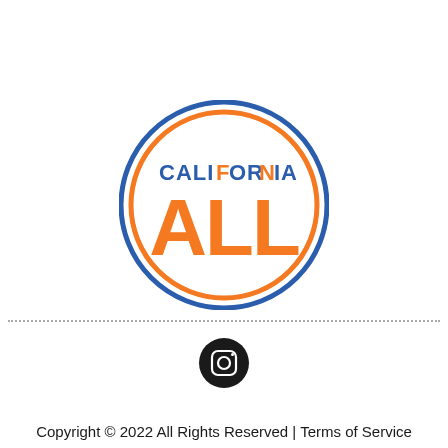[Figure (logo): California FOR ALL circular logo with blue outer ring, orange inner ring, 'CALIFORNIA' in blue and orange text at top, and large orange 'ALL' text in the center]
[Figure (logo): Instagram icon - black circle with white camera/Instagram logo inside]
Copyright © 2022 All Rights Reserved | Terms of Service